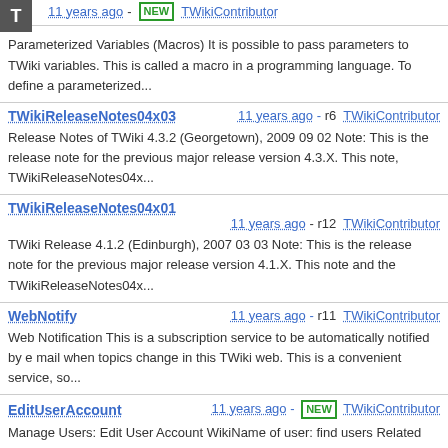ParameterizedVariables - 11 years ago - NEW - TWikiContributor
Parameterized Variables (Macros) It is possible to pass parameters to TWiki variables. This is called a macro in a programming language. To define a parameterized...
TWikiReleaseNotes04x03 11 years ago - r6 TWikiContributor
Release Notes of TWiki 4.3.2 (Georgetown), 2009 09 02 Note: This is the release note for the previous major release version 4.3.X. This note, TWikiReleaseNotes04x...
TWikiReleaseNotes04x01
11 years ago - r12 TWikiContributor
TWiki Release 4.1.2 (Edinburgh), 2007 03 03 Note: This is the release note for the previous major release version 4.1.X. This note and the TWikiReleaseNotes04x...
WebNotify 11 years ago - r11 TWikiContributor
Web Notification This is a subscription service to be automatically notified by e mail when topics change in this TWiki web. This is a convenient service, so...
EditUserAccount 11 years ago - NEW - TWikiContributor
Manage Users: Edit User Account WikiName of user: find users Related topics: ManagingUsers, QueryUsers, AdminToolsCategory